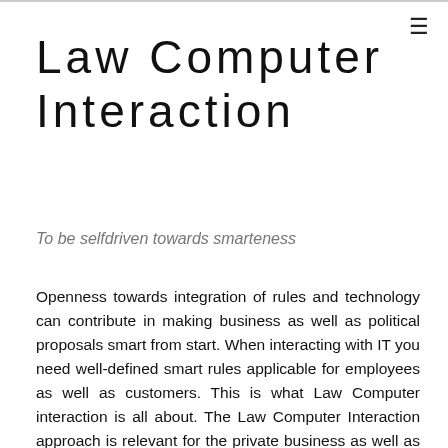Law Computer Interaction
To be selfdriven towards smarteness
Openness towards integration of rules and technology can contribute in making business as well as political proposals smart from start. When interacting with IT you need well-defined smart rules applicable for employees as well as customers. This is what Law Computer interaction is all about. The Law Computer Interaction approach is relevant for the private business as well as the public sector. We apply the international discipline 'artificial intelligence (AI) and law' and its toolbox on your company. Awareness of your rules and especially the rules regarding learning is required for applying AI so you can decide when, how and which rules to embed in your electronic devices. We distinguish between 3 kinds of rules: the laws of society, the business rules and the business